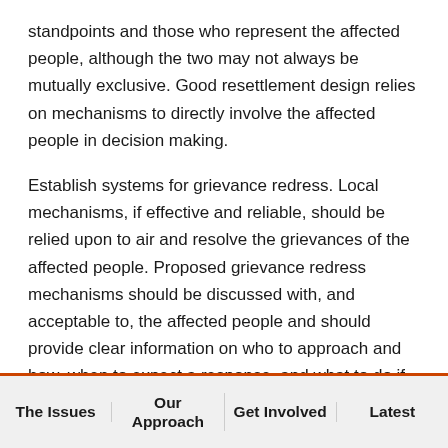standpoints and those who represent the affected people, although the two may not always be mutually exclusive. Good resettlement design relies on mechanisms to directly involve the affected people in decision making.
Establish systems for grievance redress. Local mechanisms, if effective and reliable, should be relied upon to air and resolve the grievances of the affected people. Proposed grievance redress mechanisms should be discussed with, and acceptable to, the affected people and should provide clear information on who to approach and how, when to expect a response, and what to do if the response is inadequate.
The Issues | Our Approach | Get Involved | Latest